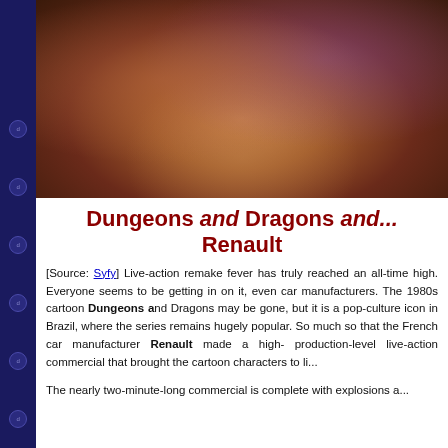[Figure (photo): Movie/commercial poster image showing live-action characters from the Dungeons and Dragons cartoon. Multiple characters including a troll-like creature in center, women with dramatic expressions, young adventurers, against a dramatic orange-purple fantasy sky background.]
Dungeons and Dragons and... Renault
[Source: Syfy] Live-action remake fever has truly reached an all-time high. Everyone seems to be getting in on it, even car manufacturers. The 1980s cartoon Dungeons and Dragons may be gone, but it is a pop-culture icon in Brazil, where the series remains hugely popular. So much so that the French car manufacturer Renault made a high production-level live-action commercial that brought the cartoon characters to life.
The nearly two-minute-long commercial is complete with explosions a...